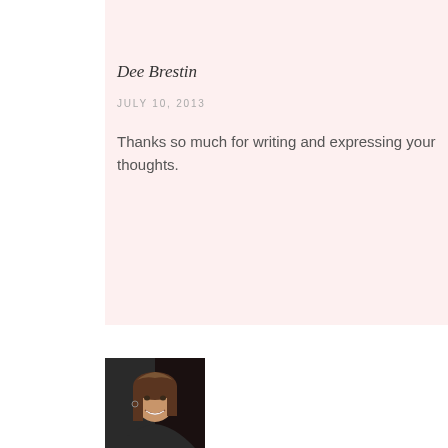[Figure (photo): Profile photo of a person (Dee Brestin) at the top of a comment block, showing head and shoulders with dark top and necklace]
Dee Brestin
JULY 10, 2013
Thanks so much for writing and expressing your thoughts.
[Figure (photo): Profile photo of a smiling woman with brown hair, black and white/sepia tone photo]